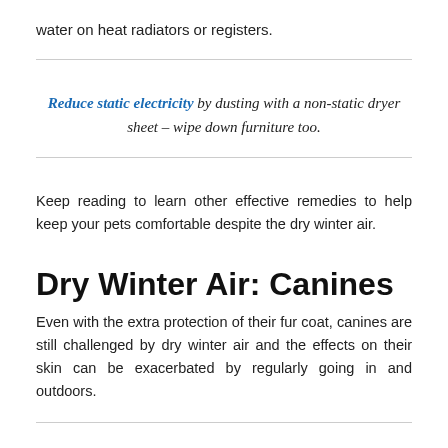water on heat radiators or registers.
Reduce static electricity by dusting with a non-static dryer sheet – wipe down furniture too.
Keep reading to learn other effective remedies to help keep your pets comfortable despite the dry winter air.
Dry Winter Air: Canines
Even with the extra protection of their fur coat, canines are still challenged by dry winter air and the effects on their skin can be exacerbated by regularly going in and outdoors.
“Excessively dry skin on your dog will manifest itself in ways you might expect, such as dandruff-like flaking and brittle